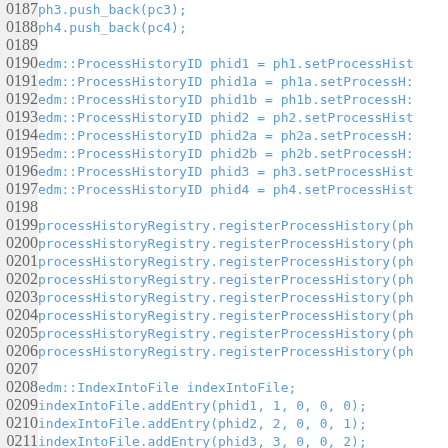Code listing lines 0187-0217 showing C++ source code with push_back, ProcessHistoryID, registerProcessHistory, IndexIntoFile operations